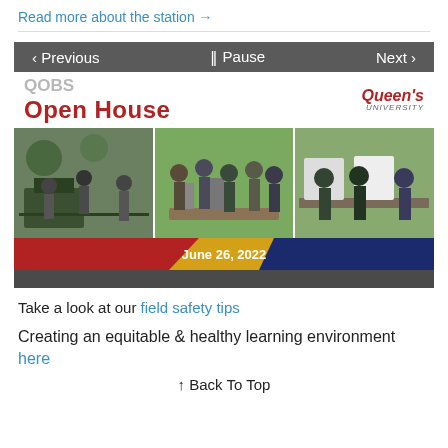Read more about the station →
[Figure (screenshot): QOBS Open House event slideshow with navigation bar (Previous / Pause / Next), QOBS Open House title with Queen's University logo, a photo strip of people at an outdoor open house event, and a colored banner reading June 26, 2022]
Take a look at our field safety tips
Creating an equitable & healthy learning environment here
↑ Back To Top